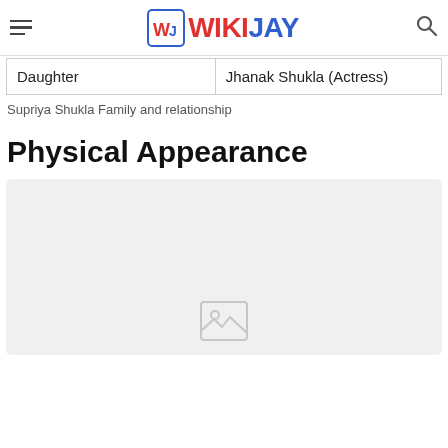WIKIJAY
| Daughter | Jhanak Shukla (Actress) |
Supriya Shukla Family and relationship
Physical Appearance
[Figure (photo): Image placeholder for Physical Appearance section — grey rectangle with broken image icon]